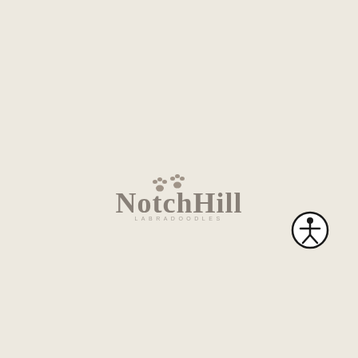[Figure (logo): NotchHill Labradoodles logo with two paw prints above the text 'NotchHill' in bold serif font and 'LABRADOODLES' in small spaced caps below]
[Figure (illustration): Accessibility icon: a circle with a stick figure person inside, arms outstretched]